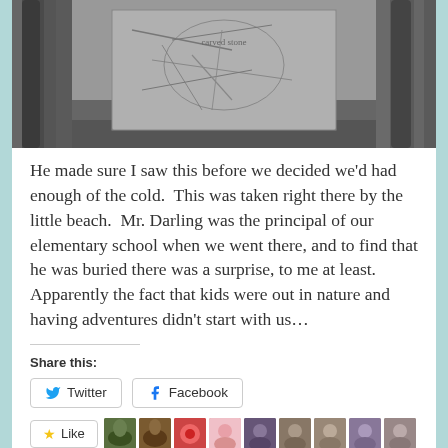[Figure (photo): Black and white photo strip showing tree trunks on left and right sides with a stone or carved marker in the center]
He made sure I saw this before we decided we'd had enough of the cold.  This was taken right there by the little beach.  Mr. Darling was the principal of our elementary school when we went there, and to find that he was buried there was a surprise, to me at least.  Apparently the fact that kids were out in nature and having adventures didn't start with us...
Share this:
Twitter  Facebook
Like
12 bloggers like this.